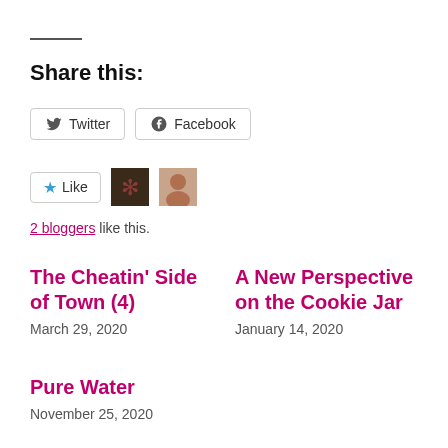Share this:
Twitter
Facebook
Like
2 bloggers like this.
The Cheatin’ Side of Town (4)
March 29, 2020
A New Perspective on the Cookie Jar
January 14, 2020
Pure Water
November 25, 2020